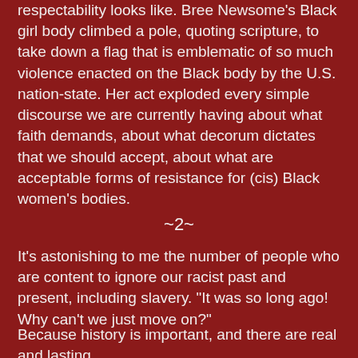respectability looks like. Bree Newsome's Black girl body climbed a pole, quoting scripture, to take down a flag that is emblematic of so much violence enacted on the Black body by the U.S. nation-state. Her act exploded every simple discourse we are currently having about what faith demands, about what decorum dictates that we should accept, about what are acceptable forms of resistance for (cis) Black women's bodies.
~2~
It's astonishing to me the number of people who are content to ignore our racist past and present, including slavery. "It was so long ago! Why can't we just move on?"
Because history is important, and there are real and lasting effects from the past. We need to understand where we've been in order to chart a new course.
Read Frederick Douglas's moving "What to the Slave Is the Fourth of July?"